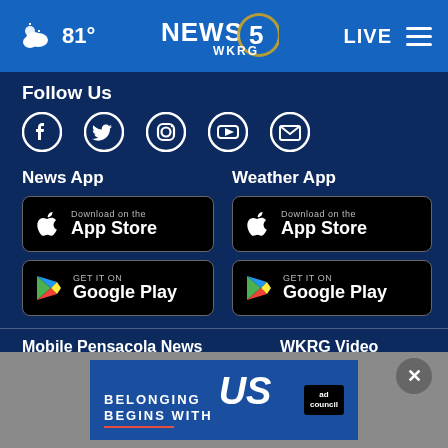81° NEWS 5 WKRG LIVE
Follow Us
[Figure (infographic): Social media icons: Facebook, Twitter, Instagram, YouTube, Email]
News App
[Figure (infographic): Download on the App Store button (black)]
[Figure (infographic): GET IT ON Google Play button (black)]
Weather App
[Figure (infographic): Download on the App Store button (black)]
[Figure (infographic): GET IT ON Google Play button (black)]
Mobile Pensacola News
WKRG Video
Mobile
[Figure (infographic): Ad banner: BELONGING BEGINS WITH US — Ad Council]